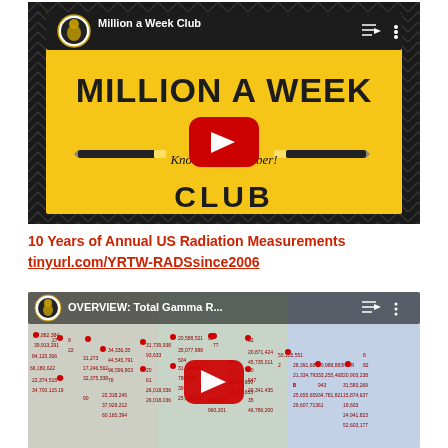[Figure (screenshot): YouTube video thumbnail for 'Million a Week Club' channel showing black background with yellow card displaying 'MILLION A WEEK CLUB' and 'CLUB' text, with pencil decorations, 'Know Your Number!' script text, red YouTube play button, and menu icons at top right.]
10 Years of Annual US Radiation Measurements
tinyurl.com/YRTW-RADSsince2006
[Figure (screenshot): YouTube video thumbnail showing a US map with radiation measurement data points labeled with numbers across all states. Title text reads 'OVERVIEW: Total Gamma R...' with YouTube play button overlay. Red location pin markers with numerical values spread across the continental United States.]